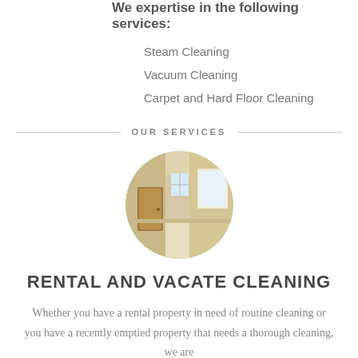We expertise in the following services:
Steam Cleaning
Vacuum Cleaning
Carpet and Hard Floor Cleaning
OUR SERVICES
[Figure (photo): Circular cropped photo of an empty room interior with warm tones, showing a door, windows with natural light, and clean floors.]
RENTAL AND VACATE CLEANING
Whether you have a rental property in need of routine cleaning or you have a recently emptied property that needs a thorough cleaning, we are